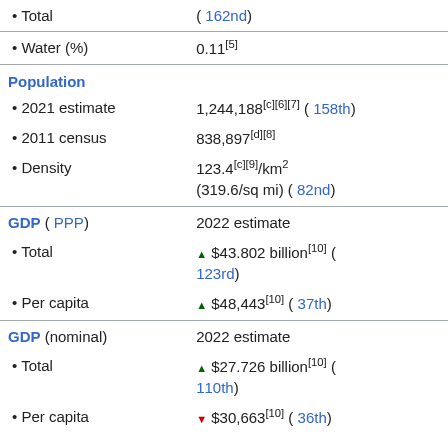| Category | Value |
| --- | --- |
| Total | ( 162nd) |
| Water (%) | 0.11[5] |
| Population |  |
| 2021 estimate | 1,244,188[c][6][7] ( 158th) |
| 2011 census | 838,897[d][8] |
| Density | 123.4[c][9]/km2 (319.6/sq mi) ( 82nd) |
| GDP ( PPP) | 2022 estimate |
| Total | ▲$43.802 billion[10] ( 123rd) |
| Per capita | ▲$48,443[10] ( 37th) |
| GDP (nominal) | 2022 estimate |
| Total | ▲$27.726 billion[10] ( 110th) |
| Per capita | ▼$30,663[10] ( 36th) |